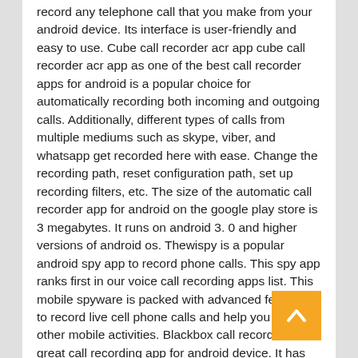record any telephone call that you make from your android device. Its interface is user-friendly and easy to use. Cube call recorder acr app cube call recorder acr app as one of the best call recorder apps for android is a popular choice for automatically recording both incoming and outgoing calls. Additionally, different types of calls from multiple mediums such as skype, viber, and whatsapp get recorded here with ease. Change the recording path, reset configuration path, set up recording filters, etc. The size of the automatic call recorder app for android on the google play store is 3 megabytes. It runs on android 3. 0 and higher versions of android os. Thewispy is a popular android spy app to record phone calls. This spy app ranks first in our voice call recording apps list. This mobile spyware is packed with advanced features to record live cell phone calls and help you spy on other mobile activities. Blackbox call recorder is a great call recording app for android device. It has various features including call recording, cloud backup support, automatic cleanup of old recordings, bluetooth earphone support, dual sim support, and more.
[Figure (other): Back to top button — orange square with a white upward-pointing chevron arrow]